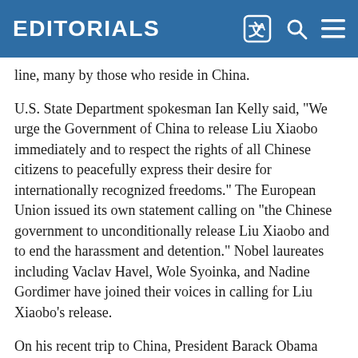EDITORIALS
line, many by those who reside in China.
U.S. State Department spokesman Ian Kelly said, "We urge the Government of China to release Liu Xiaobo immediately and to respect the rights of all Chinese citizens to peacefully express their desire for internationally recognized freedoms." The European Union issued its own statement calling on "the Chinese government to unconditionally release Liu Xiaobo and to end the harassment and detention." Nobel laureates including Vaclav Havel, Wole Syoinka, and Nadine Gordimer have joined their voices in calling for Liu Xiaobo's release.
On his recent trip to China, President Barack Obama made clear that America will always speak out for